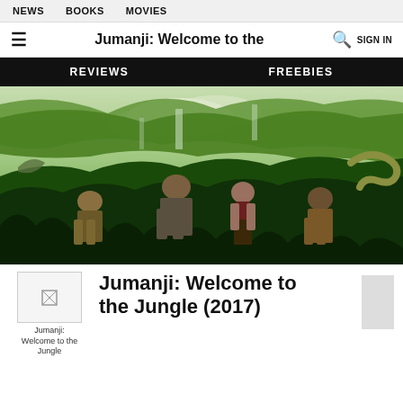NEWS   BOOKS   MOVIES
Jumanji: Welcome to the
REVIEWS   FREEBIES
[Figure (photo): Movie poster for Jumanji: Welcome to the Jungle (2017) showing four characters standing in a lush jungle with waterfalls and exotic animals in the background]
[Figure (photo): Small thumbnail image of Jumanji: Welcome to the Jungle movie poster]
Jumanji: Welcome to the Jungle (2017)